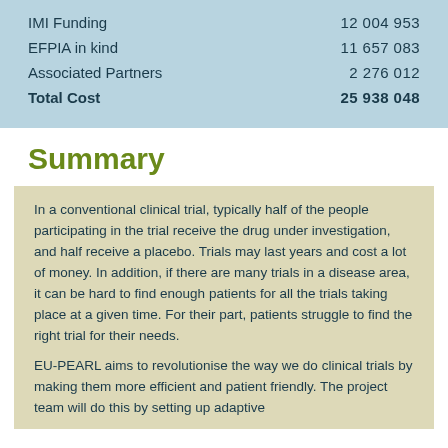|  |  |
| --- | --- |
| IMI Funding | 12 004 953 |
| EFPIA in kind | 11 657 083 |
| Associated Partners | 2 276 012 |
| Total Cost | 25 938 048 |
Summary
In a conventional clinical trial, typically half of the people participating in the trial receive the drug under investigation, and half receive a placebo. Trials may last years and cost a lot of money. In addition, if there are many trials in a disease area, it can be hard to find enough patients for all the trials taking place at a given time. For their part, patients struggle to find the right trial for their needs.
EU-PEARL aims to revolutionise the way we do clinical trials by making them more efficient and patient friendly. The project team will do this by setting up adaptive